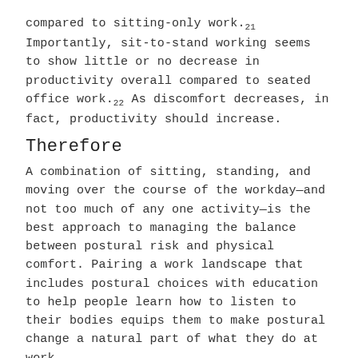compared to sitting-only work.21 Importantly, sit-to-stand working seems to show little or no decrease in productivity overall compared to seated office work.22 As discomfort decreases, in fact, productivity should increase.
Therefore
A combination of sitting, standing, and moving over the course of the workday—and not too much of any one activity—is the best approach to managing the balance between postural risk and physical comfort. Pairing a work landscape that includes postural choices with education to help people learn how to listen to their bodies equips them to make postural change a natural part of what they do at work.
Summary: Get a Smart Sit-and-Stand Desk that forces you to sit, stand and repeat, many times a day!